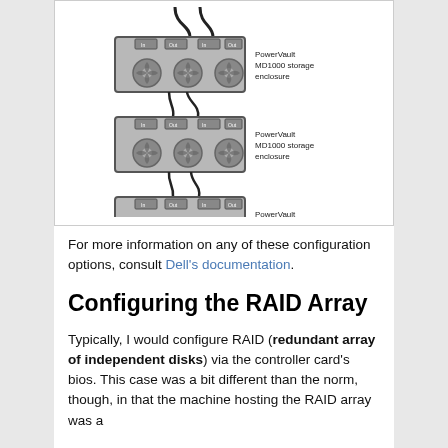[Figure (schematic): Three PowerVault MD1000 storage enclosures connected in a daisy-chain configuration with cables, each labeled 'PowerVault MD1000 storage enclosure']
For more information on any of these configuration options, consult Dell's documentation.
Configuring the RAID Array
Typically, I would configure RAID (redundant array of independent disks) via the controller card's bios. This case was a bit different than the norm, though, in that the machine hosting the RAID array was a